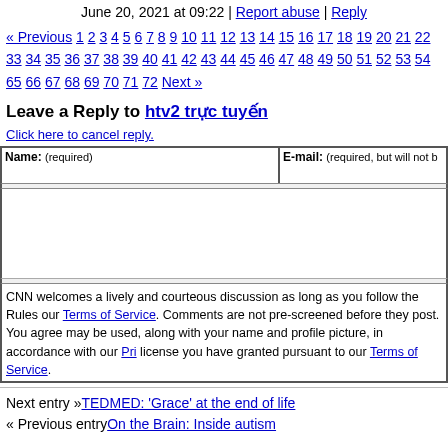June 20, 2021 at 09:22 | Report abuse | Reply
« Previous 1 2 3 4 5 6 7 8 9 10 11 12 13 14 15 16 17 18 19 20 21 22 33 34 35 36 37 38 39 40 41 42 43 44 45 46 47 48 49 50 51 52 53 54 65 66 67 68 69 70 71 72 Next »
Leave a Reply to htv2 trực tuyến
Click here to cancel reply.
CNN welcomes a lively and courteous discussion as long as you follow the Rules our Terms of Service. Comments are not pre-screened before they post. You agree may be used, along with your name and profile picture, in accordance with our Pri license you have granted pursuant to our Terms of Service.
Next entry »TEDMED: 'Grace' at the end of life
« Previous entryOn the Brain: Inside autism